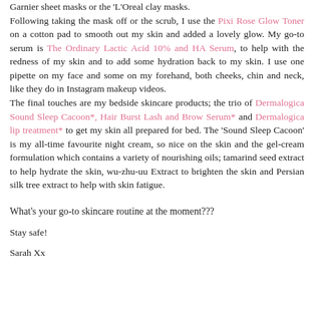Garnier sheet masks or the 'L'Oreal clay masks. Following taking the mask off or the scrub, I use the Pixi Rose Glow Toner on a cotton pad to smooth out my skin and added a lovely glow. My go-to serum is The Ordinary Lactic Acid 10% and HA Serum, to help with the redness of my skin and to add some hydration back to my skin. I use one pipette on my face and some on my forehand, both cheeks, chin and neck, like they do in Instagram makeup videos. The final touches are my bedside skincare products; the trio of Dermalogica Sound Sleep Cacoon*, Hair Burst Lash and Brow Serum* and Dermalogica lip treatment* to get my skin all prepared for bed. The 'Sound Sleep Cacoon' is my all-time favourite night cream, so nice on the skin and the gel-cream formulation which contains a variety of nourishing oils; tamarind seed extract to help hydrate the skin, wu-zhu-uu Extract to brighten the skin and Persian silk tree extract to help with skin fatigue.
What's your go-to skincare routine at the moment???
Stay safe!
Sarah Xx